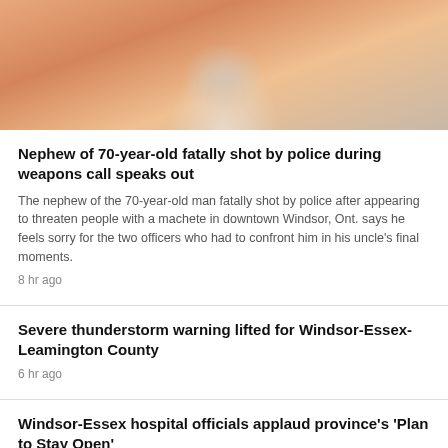[Figure (photo): Photo of an elderly man wearing a white shirt and lanyard, with orange/warm background]
Nephew of 70-year-old fatally shot by police during weapons call speaks out
The nephew of the 70-year-old man fatally shot by police after appearing to threaten people with a machete in downtown Windsor, Ont. says he feels sorry for the two officers who had to confront him in his uncle's final moments.
8 hr ago
Severe thunderstorm warning lifted for Windsor-Essex-Leamington County
6 hr ago
Windsor-Essex hospital officials applaud province's 'Plan to Stay Open'